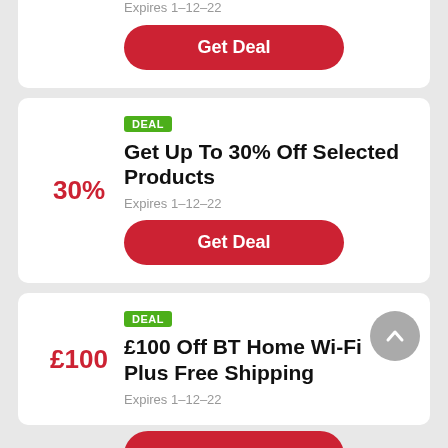Expires 1-12-22
Get Deal
DEAL
Get Up To 30% Off Selected Products
30%
Expires 1-12-22
Get Deal
DEAL
£100 Off BT Home Wi-Fi Plus Free Shipping
£100
Expires 1-12-22